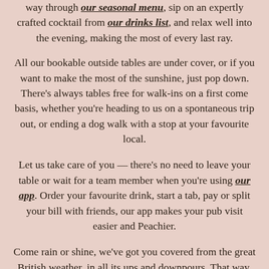way through our seasonal menu, sip on an expertly crafted cocktail from our drinks list, and relax well into the evening, making the most of every last ray.
All our bookable outside tables are under cover, or if you want to make the most of the sunshine, just pop down. There's always tables free for walk-ins on a first come basis, whether you're heading to us on a spontaneous trip out, or ending a dog walk with a stop at your favourite local.
Let us take care of you — there's no need to leave your table or wait for a team member when you're using our app. Order your favourite drink, start a tab, pay or split your bill with friends, our app makes your pub visit easier and Peachier.
Come rain or shine, we've got you covered from the great British weather, in all its ups and downpours. That way, you can make the most of outdoor dining or drinking when the weather's warm,